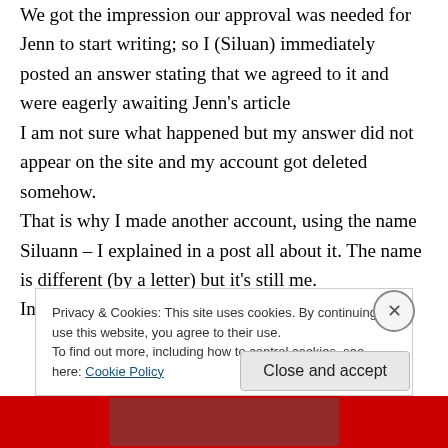We got the impression our approval was needed for Jenn to start writing; so I (Siluan) immediately posted an answer stating that we agreed to it and were eagerly awaiting Jenn's article I am not sure what happened but my answer did not appear on the site and my account got deleted somehow. That is why I made another account, using the name Siluann – I explained in a post all about it. The name is different (by a letter) but it's still me. In the meantime, because we really wanted Jenn
Privacy & Cookies: This site uses cookies. By continuing to use this website, you agree to their use. To find out more, including how to control cookies, see here: Cookie Policy